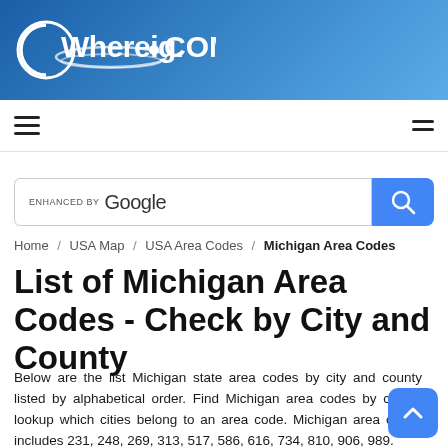[Figure (logo): Whereig.COM logo with globe icon and orbital rings on blue gradient banner]
Navigation bar with hamburger menu icons
ENHANCED BY Google [search bar with search button]
Home / USA Map / USA Area Codes / Michigan Area Codes
List of Michigan Area Codes - Check by City and County
Below are the list Michigan state area codes by city and county listed by alphabetical order. Find Michigan area codes by city or lookup which cities belong to an area code. Michigan area codes includes 231, 248, 269, 313, 517, 586, 616, 734, 810, 906, 989.